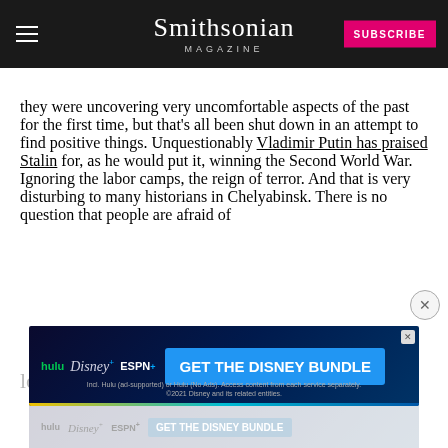Smithsonian MAGAZINE
they were uncovering very uncomfortable aspects of the past for the first time, but that's all been shut down in an attempt to find positive things. Unquestionably Vladimir Putin has praised Stalin for, as he would put it, winning the Second World War. Ignoring the labor camps, the reign of terror. And that is very disturbing to many historians in Chelyabinsk. There is no question that people are afraid of losing...
[Figure (screenshot): Disney Bundle advertisement banner showing Hulu, Disney+, and ESPN+ logos with 'GET THE DISNEY BUNDLE' call-to-action button on dark background]